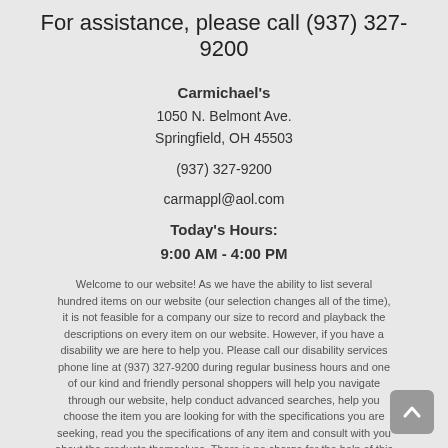For assistance, please call (937) 327-9200
Carmichael's
1050 N. Belmont Ave.
Springfield, OH 45503

(937) 327-9200

carmappl@aol.com

Today's Hours:
9:00 AM - 4:00 PM
Welcome to our website! As we have the ability to list several hundred items on our website (our selection changes all of the time), it is not feasible for a company our size to record and playback the descriptions on every item on our website. However, if you have a disability we are here to help you. Please call our disability services phone line at (937) 327-9200 during regular business hours and one of our kind and friendly personal shoppers will help you navigate through our website, help conduct advanced searches, help you choose the item you are looking for with the specifications you are seeking, read you the specifications of any item and consult with you about the products themselves. There is no charge for the help of this personal shopper for anyone with a disability. Finally, your